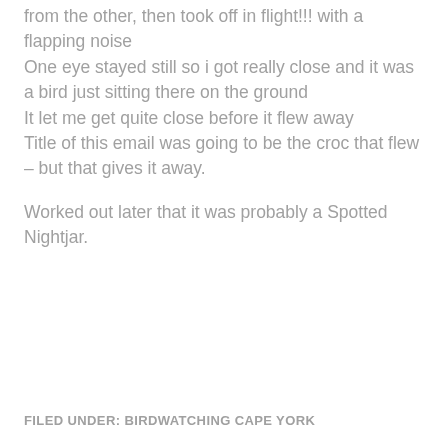from the other, then took off in flight!!! with a flapping noise
One eye stayed still so i got really close and it was a bird just sitting there on the ground
It let me get quite close before it flew away
Title of this email was going to be the croc that flew – but that gives it away.
Worked out later that it was probably a Spotted Nightjar.
FILED UNDER: BIRDWATCHING CAPE YORK